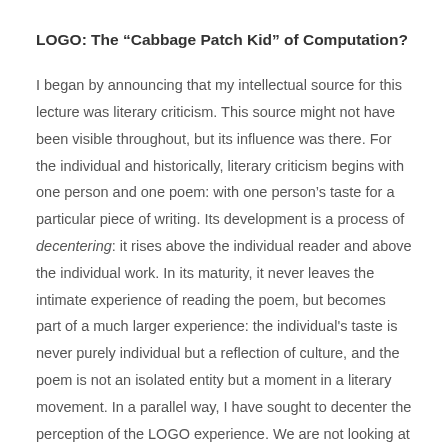LOGO: The “Cabbage Patch Kid” of Computation?
I began by announcing that my intellectual source for this lecture was literary criticism. This source might not have been visible throughout, but its influence was there. For the individual and historically, literary criticism begins with one person and one poem: with one person’s taste for a particular piece of writing. Its development is a process of decentering: it rises above the individual reader and above the individual work. In its maturity, it never leaves the intimate experience of reading the poem, but becomes part of a much larger experience: the individual's taste is never purely individual but a reflection of culture, and the poem is not an isolated entity but a moment in a literary movement. In a parallel way, I have sought to decenter the perception of the LOGO experience. We are not looking at the effect of a technological object on an individual child, we are looking at the workings of a cultural process.